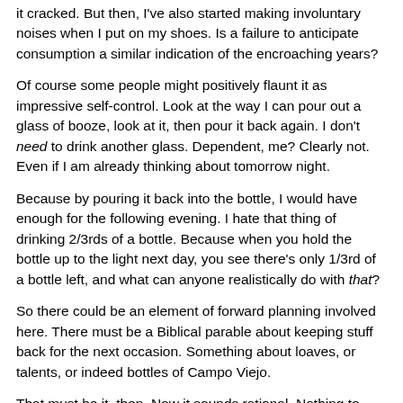it cracked. But then, I've also started making involuntary noises when I put on my shoes. Is a failure to anticipate consumption a similar indication of the encroaching years?
Of course some people might positively flaunt it as impressive self-control. Look at the way I can pour out a glass of booze, look at it, then pour it back again. I don't need to drink another glass. Dependent, me? Clearly not. Even if I am already thinking about tomorrow night.
Because by pouring it back into the bottle, I would have enough for the following evening. I hate that thing of drinking 2/3rds of a bottle. Because when you hold the bottle up to the light next day, you see there's only 1/3rd of a bottle left, and what can anyone realistically do with that?
So there could be an element of forward planning involved here. There must be a Biblical parable about keeping stuff back for the next occasion. Something about loaves, or talents, or indeed bottles of Campo Viejo.
That must be it, then. Now it sounds rational. Nothing to worry about. Move along.
PK